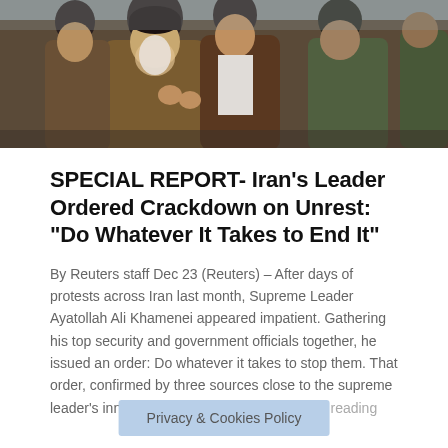[Figure (photo): Group of men in a crowd, featuring a bearded elderly man in traditional clerical robes surrounded by other figures]
SPECIAL REPORT- Iran's Leader Ordered Crackdown on Unrest: “Do Whatever It Takes to End It”
By Reuters staff Dec 23 (Reuters) – After days of protests across Iran last month, Supreme Leader Ayatollah Ali Khamenei appeared impatient. Gathering his top security and government officials together, he issued an order: Do whatever it takes to stop them. That order, confirmed by three sources close to the supreme leader’s inner circle and a fourth … Continue reading
Privacy & Cookies Policy